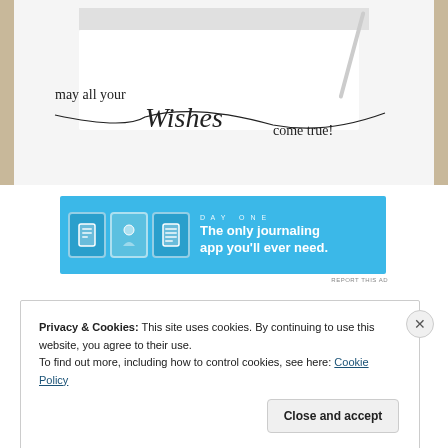[Figure (photo): Photo of a white greeting card with handwritten-style text reading 'may all your Wishes come true!' on a wooden surface background]
[Figure (infographic): Day One journaling app advertisement banner with blue background, app icons, and text 'The only journaling app you'll ever need.']
REPORT THIS AD
Privacy & Cookies: This site uses cookies. By continuing to use this website, you agree to their use.
To find out more, including how to control cookies, see here: Cookie Policy
Close and accept